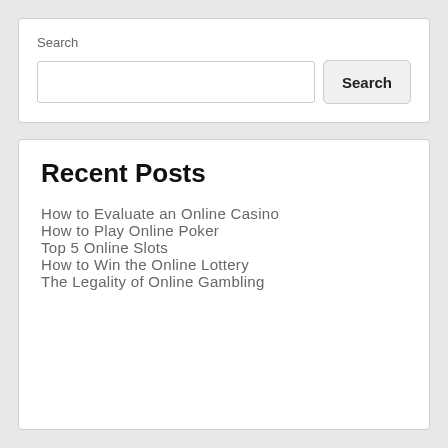Search
Recent Posts
How to Evaluate an Online Casino
How to Play Online Poker
Top 5 Online Slots
How to Win the Online Lottery
The Legality of Online Gambling